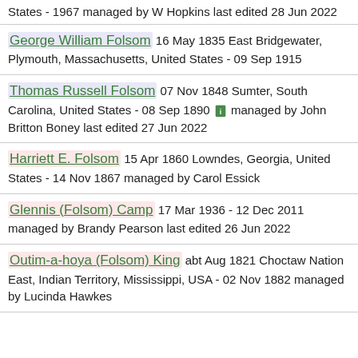States - 1967 managed by W Hopkins last edited 28 Jun 2022
George William Folsom 16 May 1835 East Bridgewater, Plymouth, Massachusetts, United States - 09 Sep 1915
Thomas Russell Folsom 07 Nov 1848 Sumter, South Carolina, United States - 08 Sep 1890 managed by John Britton Boney last edited 27 Jun 2022
Harriett E. Folsom 15 Apr 1860 Lowndes, Georgia, United States - 14 Nov 1867 managed by Carol Essick
Glennis (Folsom) Camp 17 Mar 1936 - 12 Dec 2011 managed by Brandy Pearson last edited 26 Jun 2022
Outim-a-hoya (Folsom) King abt Aug 1821 Choctaw Nation East, Indian Territory, Mississippi, USA - 02 Nov 1882 managed by Lucinda Hawkes